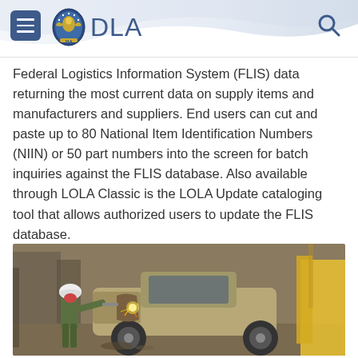DLA
Federal Logistics Information System (FLIS) data returning the most current data on supply items and manufacturers and suppliers. End users can cut and paste up to 80 National Item Identification Numbers (NIIN) or 50 part numbers into the screen for batch inquiries against the FLIS database. Also available through LOLA Classic is the LOLA Update cataloging tool that allows authorized users to update the FLIS database.
[Figure (photo): A worker in protective gear (hard hat and respirator) uses a cutting tool on a military HMMWV (Humvee) vehicle, producing sparks, at an industrial facility. A yellow crane or equipment is visible in the background.]